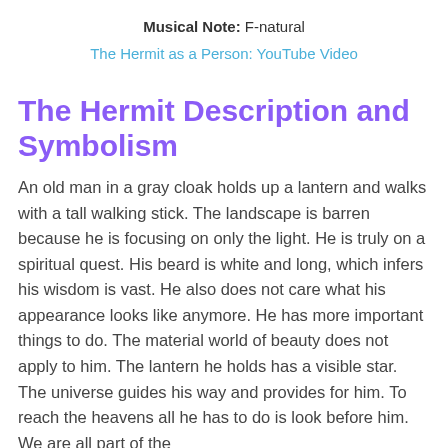Musical Note: F-natural
The Hermit as a Person: YouTube Video
The Hermit Description and Symbolism
An old man in a gray cloak holds up a lantern and walks with a tall walking stick. The landscape is barren because he is focusing on only the light. He is truly on a spiritual quest. His beard is white and long, which infers his wisdom is vast. He also does not care what his appearance looks like anymore. He has more important things to do. The material world of beauty does not apply to him. The lantern he holds has a visible star. The universe guides his way and provides for him. To reach the heavens all he has to do is look before him. We are all part of the